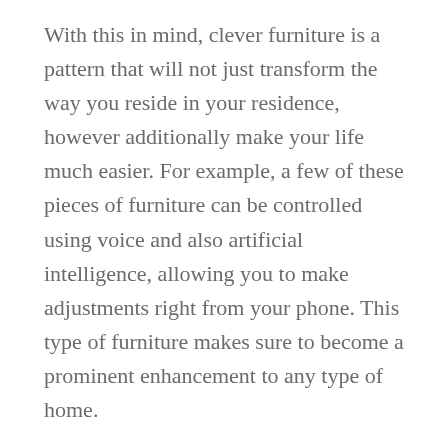With this in mind, clever furniture is a pattern that will not just transform the way you reside in your residence, however additionally make your life much easier. For example, a few of these pieces of furniture can be controlled using voice and also artificial intelligence, allowing you to make adjustments right from your phone. This type of furniture makes sure to become a prominent enhancement to any type of home.
Selecting the right smart furnishings for your home is not constantly easy, as not all kinds are for each sort of family. It is very important to consider your way of life prior to choosing. As an example, you could not require a sofa with built-in audio speakers, if you do not view movies. Or, you may not such as the concept of lighting that automatically alters with the movements of your body. Ultimately, the wise furnishings will be the most